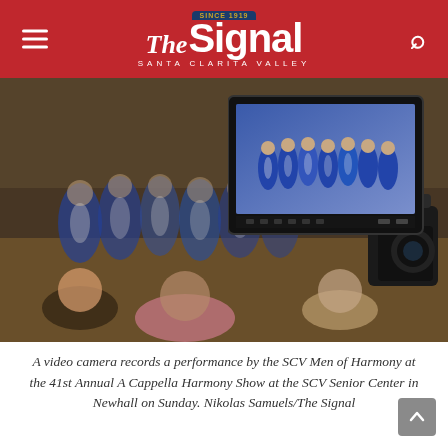The Signal — Santa Clarita Valley (Since 1919)
[Figure (photo): A video camera on a stand records a choir group (SCV Men of Harmony) performing in blue and white vests at an indoor venue. The camera monitor displays the choir. Audience members are seated in the foreground watching the performance.]
A video camera records a performance by the SCV Men of Harmony at the 41st Annual A Cappella Harmony Show at the SCV Senior Center in Newhall on Sunday. Nikolas Samuels/The Signal